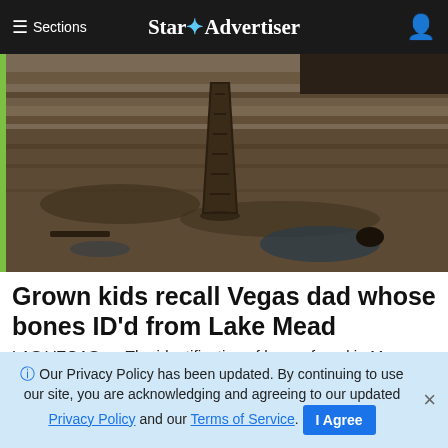≡ Sections   Star ✦ Advertiser
[Figure (photo): A partially submerged wooden boat hull standing nearly vertical on the dried, cracked muddy shoreline of Lake Mead, with rocky cliffs in the background and receding water line visible.]
Grown kids recall Vegas dad whose bones ID'd from Lake Mead
LAS VEGAS >> The identification of bones found in May on the receding shoreline of Lake Mead has resurface...
Star-Advertiser
ℹ Our Privacy Policy has been updated. By continuing to use our site, you are acknowledging and agreeing to our updated Privacy Policy and our Terms of Service. I Agree